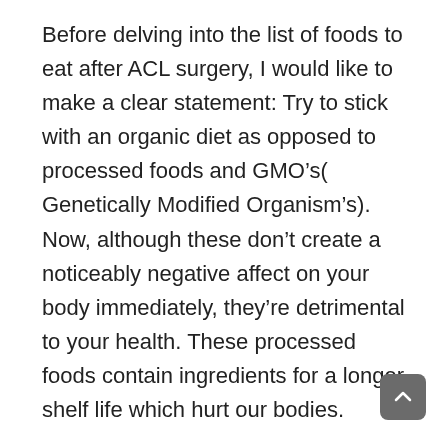Before delving into the list of foods to eat after ACL surgery, I would like to make a clear statement: Try to stick with an organic diet as opposed to processed foods and GMO’s( Genetically Modified Organism’s). Now, although these don’t create a noticeably negative affect on your body immediately, they’re detrimental to your health. These processed foods contain ingredients for a longer shelf life which hurt our bodies.
GMO’s have no benefits to your health. According to the American Academy of Environmental Medicine (AAEM), they urge doctors to prescribe non-GMO diets for all patients. They cite animal studies showing organ damage, gastrointestinal